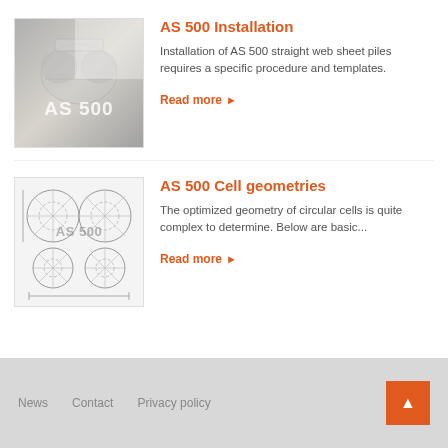[Figure (photo): AS 500 straight web sheet piles installation photo, grayish industrial site image with AS 500 label overlay]
AS 500 Installation
Installation of AS 500 straight web sheet piles requires a specific procedure and templates.
Read more ▶
[Figure (engineering-diagram): Technical drawing of AS 500 cell geometries showing circular cells arrangement with dimensions and cross-sections, with AS 500 label overlay]
AS 500 Cell geometries
The optimized geometry of circular cells is quite complex to determine. Below are basic...
Read more ▶
News   Contact   Privacy policy